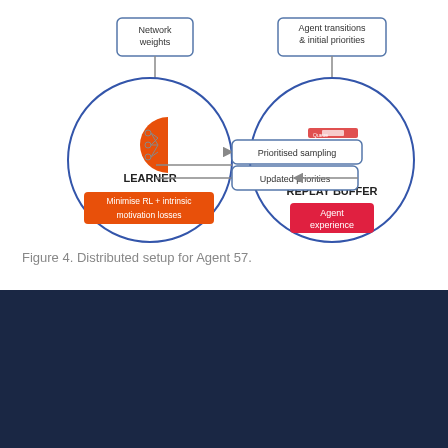[Figure (flowchart): Distributed setup for Agent 57. Shows a LEARNER circle on the left with a neural network icon and orange label 'Minimise RL + intrinsic motivation losses'. A REPLAY BUFFER circle on the right with a stack-of-memory icon and red label 'Agent experience'. Arrows from top: 'Network weights' pointing down to LEARNER, 'Agent transitions & initial priorities' pointing down to REPLAY BUFFER. Between the circles: arrow left labeled 'Prioritised sampling' and arrow right labeled 'Updated priorities'.]
Figure 4. Distributed setup for Agent 57.
DeepMind may serve cookies to analyse traffic to this site. Information about your use of this site is shared with DeepMind for that purpose
See details   OK, got it